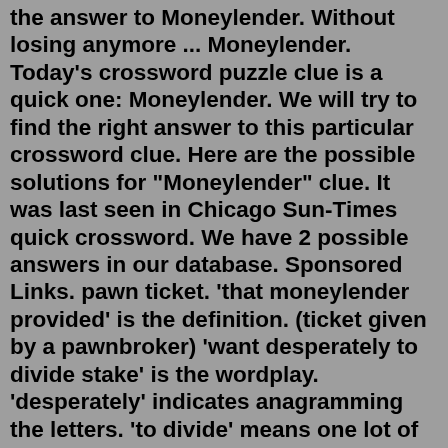the answer to Moneylender. Without losing anymore ... Moneylender. Today's crossword puzzle clue is a quick one: Moneylender. We will try to find the right answer to this particular crossword clue. Here are the possible solutions for "Moneylender" clue. It was last seen in Chicago Sun-Times quick crossword. We have 2 possible answers in our database. Sponsored Links. pawn ticket. 'that moneylender provided' is the definition. (ticket given by a pawnbroker) 'want desperately to divide stake' is the wordplay. 'desperately' indicates anagramming the letters. 'to divide' means one lot of letters goes inside another (some letters create a division in others). 'stake' becomes 'picket' (both can mean a post). We found 4 answers for “Moneylender” . This page shows answers to the clue Moneylender. Moneylender may be defined as “ A person or organization whose business it is to lend money at interest ”. A synonym for Moneylender is financier. 6 letters. BANKER. Stomach malady crossword clue Minute divisions, for short crossword clue Honshu's continent crossword